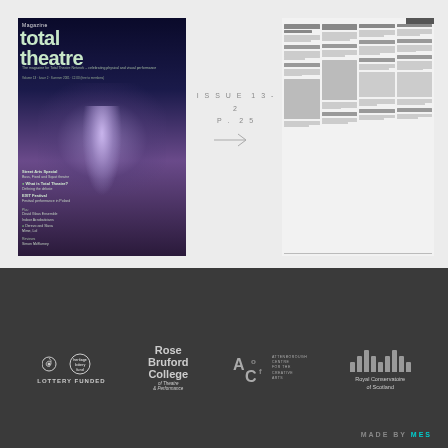[Figure (photo): Cover of Total Theatre Magazine with large stylized title text and a figure bathed in light against a dark background]
ISSUE 13-2
P. 25
[Figure (other): Arrow pointing right]
[Figure (photo): Inner page of Total Theatre Magazine showing a multi-column text layout with a black and white photo of two figures]
[Figure (logo): Heritage Lottery Fund logo and LOTTERY FUNDED text]
[Figure (logo): Rose Bruford College of Theatre & Performance logo]
[Figure (logo): Attenborough Centre for the Creative Arts (ACOF) logo]
[Figure (logo): Royal Conservatoire of Scotland logo with vertical bars]
MADE BY MES